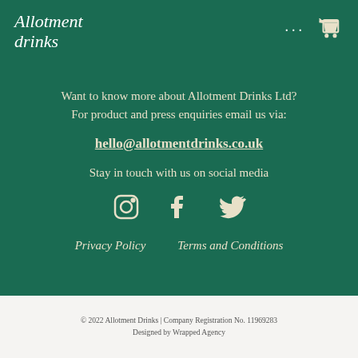[Figure (logo): Allotment drinks logo in white italic script on dark green background, with three dots and a shopping cart icon in the top right]
Want to know more about Allotment Drinks Ltd? For product and press enquiries email us via:
hello@allotmentdrinks.co.uk
Stay in touch with us on social media
[Figure (illustration): Instagram, Facebook, and Twitter social media icons in cream/beige color]
Privacy Policy   Terms and Conditions
© 2022 Allotment Drinks | Company Registration No. 11969283
Designed by Wrapped Agency